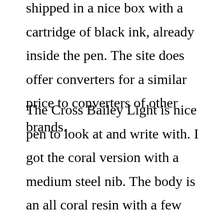shipped in a nice box with a cartridge of black ink, already inside the pen. The site does offer converters for a similar price to converters of other brands.
The Cross Bailey Light is nice pen to look at and write with. I got the coral version with a medium steel nib. The body is an all coral resin with a few bands of silver trim and silver clip. The cap does come off one handed, which comes in handy ( lol) . The pen also has a nice click when the cap is put